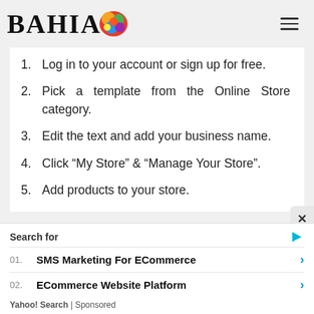BAHIA (logo with colorful blob)
Log in to your account or sign up for free.
Pick a template from the Online Store category.
Edit the text and add your business name.
Click “My Store” & “Manage Your Store”.
Add products to your store.
Search for
01.  SMS Marketing For ECommerce
02.  ECommerce Website Platform
Yahoo! Search | Sponsored